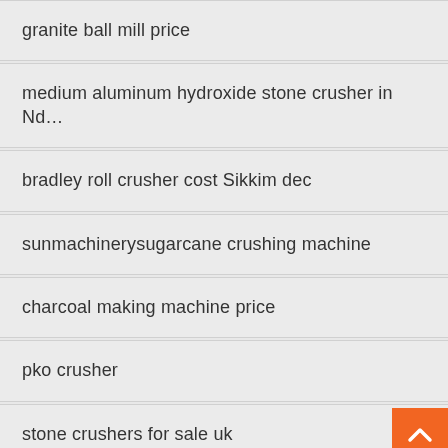granite ball mill price
medium aluminum hydroxide stone crusher in Nd...
bradley roll crusher cost Sikkim dec
sunmachinerysugarcane crushing machine
charcoal making machine price
pko crusher
stone crushers for sale uk
Milan tangible benefits medium calcite mineral pr...